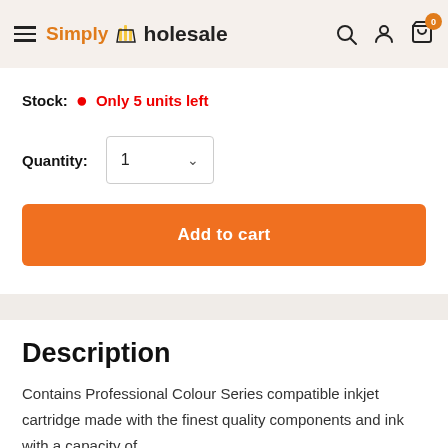Simply Wholesale — navigation header with hamburger menu, search, account, and cart icons
Stock: Only 5 units left
Quantity: 1
Add to cart
Description
Contains Professional Colour Series compatible inkjet cartridge made with the finest quality components and ink with a capacity of